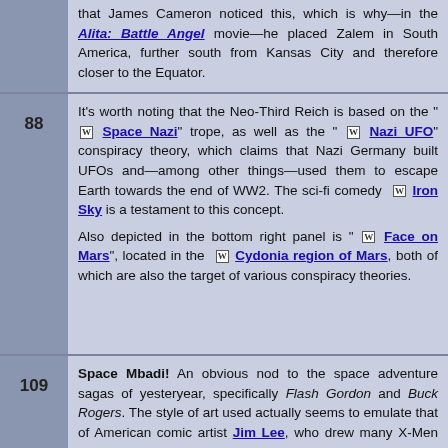that James Cameron noticed this, which is why—in the Alita: Battle Angel movie—he placed Zalem in South America, further south from Kansas City and therefore closer to the Equator.
88 — It's worth noting that the Neo-Third Reich is based on the " Space Nazi" trope, as well as the " Nazi UFO" conspiracy theory, which claims that Nazi Germany built UFOs and—among other things—used them to escape Earth towards the end of WW2. The sci-fi comedy Iron Sky is a testament to this concept.

Also depicted in the bottom right panel is " Face on Mars", located in the Cydonia region of Mars, both of which are also the target of various conspiracy theories.
109 — Space Mbadi! An obvious nod to the space adventure sagas of yesteryear, specifically Flash Gordon and Buck Rogers. The style of art used actually seems to emulate that of American comic artist Jim Lee, who drew many X-Men comics during the early 90's.

The names of the actors of the Space Mbadi! television show also most likely reference people in real life, possibly those of some political, artistic or social importance: